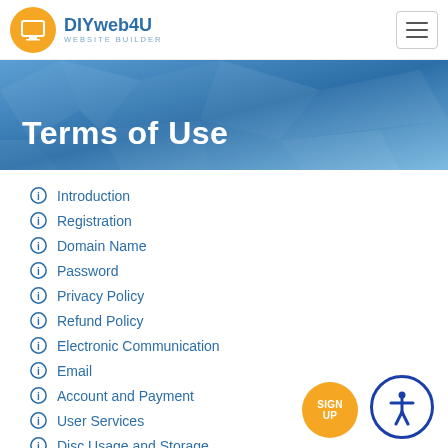DIYweb4U WEBSITE BUILDER
Terms of Use
Introduction
Registration
Domain Name
Password
Privacy Policy
Refund Policy
Electronic Communication
Email
Account and Payment
User Services
Disc Usage and Storage
Server and Site Monitoring
Backups
Third Party Websites
Third Party Images